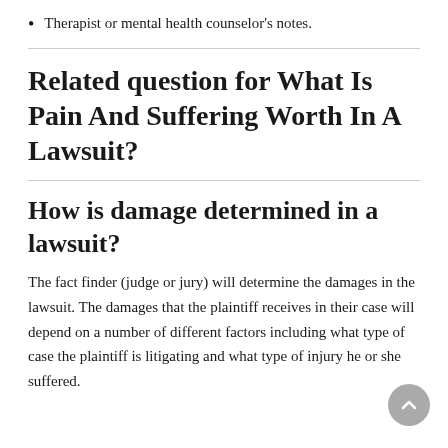Therapist or mental health counselor's notes.
Related question for What Is Pain And Suffering Worth In A Lawsuit?
How is damage determined in a lawsuit?
The fact finder (judge or jury) will determine the damages in the lawsuit. The damages that the plaintiff receives in their case will depend on a number of different factors including what type of case the plaintiff is litigating and what type of injury he or she suffered.